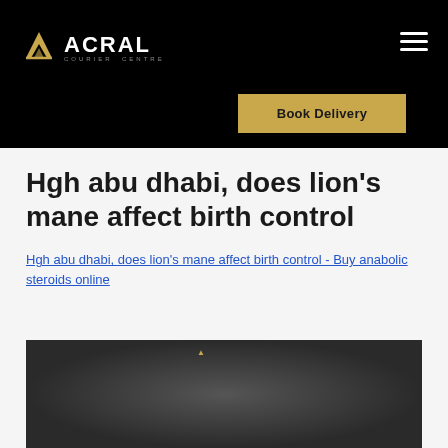ACRAL COURIER CENTRE
Hgh abu dhabi, does lion's mane affect birth control
Hgh abu dhabi, does lion's mane affect birth control - Buy anabolic steroids online
[Figure (photo): Dark blurred image, possibly a product or person, with a small golden/amber text label near the top center]